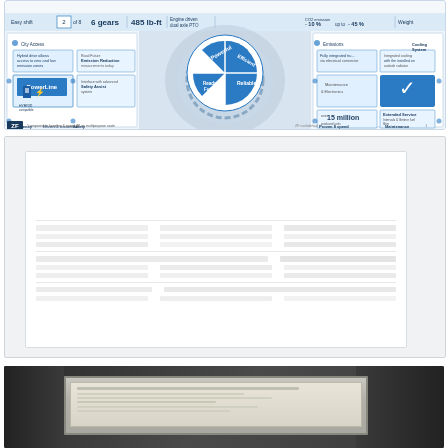[Figure (infographic): ZF Friedrichshafen AG engineering infographic showing a multi-speed automatic transmission/hybrid powertrain slide. Contains a central blue quadrant circle labeled Powerful, Efficient, Reliable, Ready for Future with surrounding technical data boxes: Easy shift, 6 gears, 485 lb-ft, Engine driven dual axle PTO, CO2 emission -10%, -45%, PowerLine, Safety Assist, Hybrid drive, Emission Reduction, Fully integrated, Integrated cooling, over 15 million, Extended Service, Maintenance & lifetime. Footer: compared to baseline 6 speed AT on multipurpose route. ZF confidential.]
[Figure (screenshot): A light gray slide or presentation page with text content arranged in columns, mostly illegible at this resolution, showing a table or structured layout with gray text on white background inside a larger light gray frame.]
[Figure (photo): A photograph of a physical object on a dark background, appearing to show a display screen or instrument panel with a silver/beige rectangular screen or display unit mounted in a dark enclosure.]